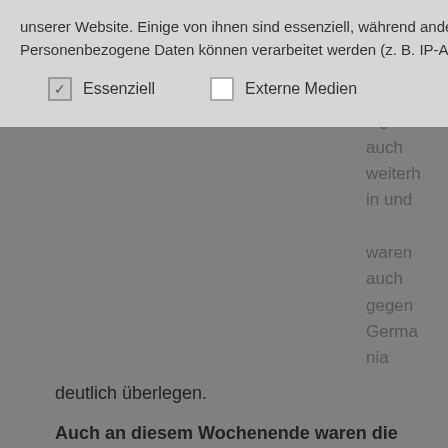unserer Website. Einige von ihnen sind essenziell, während andere uns helfen, diese Website und Ihre Erfahrung zu verbessern. Personenbezogene Daten können verarbeitet werden (z. B. IP-Adressen), z. B. für
Essenziell    Externe Medien
Frauen dominieren die Liga auch weiterhin und waren auch gegen Germania
deutlich überlegen.
Auch an diesem Wochenende waren die Frauen ihren Gegnerinnen wieder deutlich überlegen. Bei kühlen Temperaturen und Sonnenschein, zeigte das Team einen